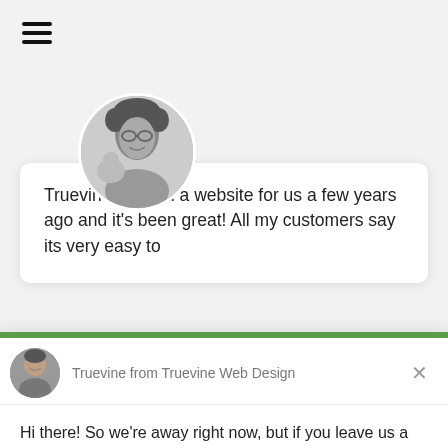[Figure (screenshot): Hamburger menu icon (three horizontal lines) in top left corner]
[Figure (photo): Circular black and white photo of a man with curly hair holding a baby, positioned at top of testimonial card]
Truevine created a website for us a few years ago and it's been great! All my customers say its very easy to
[Figure (photo): Circular photo of a man with short hair, used as chat avatar for Truevine from Truevine Web Design]
Truevine from Truevine Web Design
Hi there! So we're away right now, but if you leave us a message we'll get back to you soon.
Reply to Truevine
Chat ⚡ by Drift